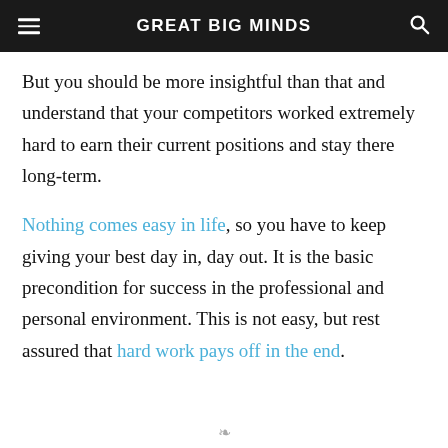GREAT BIG MINDS
But you should be more insightful than that and understand that your competitors worked extremely hard to earn their current positions and stay there long-term.
Nothing comes easy in life, so you have to keep giving your best day in, day out. It is the basic precondition for success in the professional and personal environment. This is not easy, but rest assured that hard work pays off in the end.